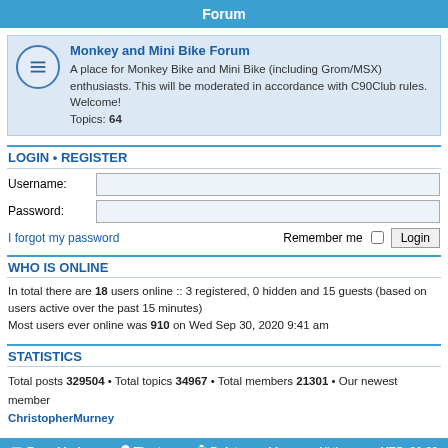Forum
Monkey and Mini Bike Forum
A place for Monkey Bike and Mini Bike (including Grom/MSX) enthusiasts. This will be moderated in accordance with C90Club rules. Welcome! Topics: 64
LOGIN • REGISTER
Username:
Password:
I forgot my password
Remember me  Login
WHO IS ONLINE
In total there are 18 users online :: 3 registered, 0 hidden and 15 guests (based on users active over the past 15 minutes)
Most users ever online was 910 on Wed Sep 30, 2020 9:41 am
STATISTICS
Total posts 329504 • Total topics 34967 • Total members 21301 • Our newest member ChristopherMurney
Board index  The team  Delete cookies  All times are UTC+01:00
Powered by phpBB® Forum Software © phpBB Limited
Privacy | Terms